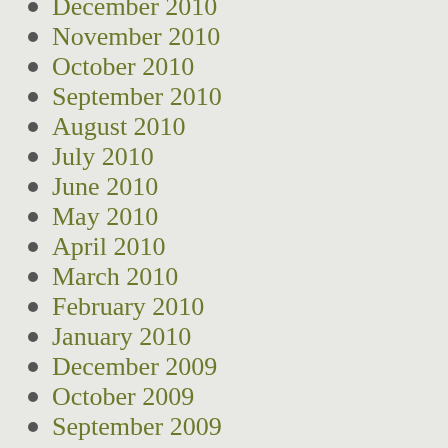December 2010
November 2010
October 2010
September 2010
August 2010
July 2010
June 2010
May 2010
April 2010
March 2010
February 2010
January 2010
December 2009
October 2009
September 2009
August 2009
July 2009